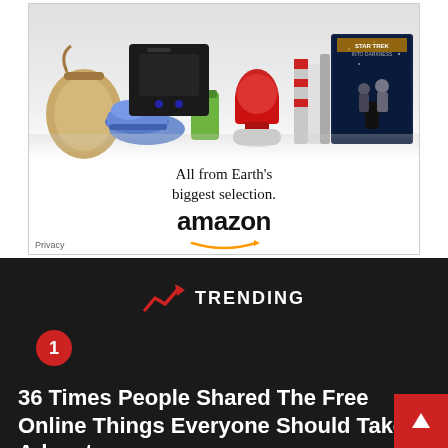[Figure (illustration): Amazon advertisement banner showing various products (bag, PS4, KitchenAid mixer, books, Kindle tablets, Star Trek movie) above text 'All from Earth's biggest selection.' with Amazon logo and arrow, and a Privacy label in the bottom left corner.]
TRENDING
1
36 Times People Shared The Free Online Things Everyone Should Take Advantage